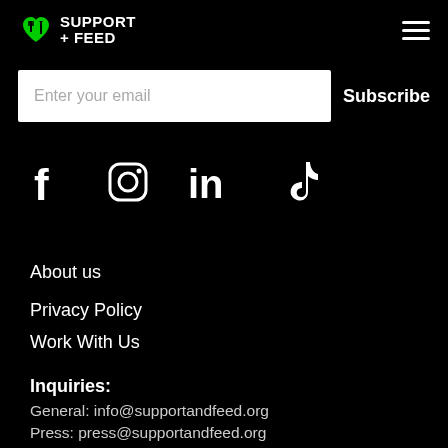SUPPORT + FEED
Enter your email  Subscribe
[Figure (other): Social media icons: Facebook, Instagram, LinkedIn, TikTok]
About us
Privacy Policy
Work With Us
Inquiries:
General: info@supportandfeed.org
Press: press@supportandfeed.org